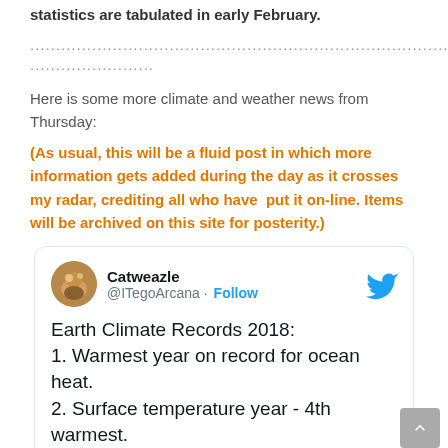statistics are tabulated in early February.
....................................................................................................................................................................
Here is some more climate and weather news from Thursday:
(As usual, this will be a fluid post in which more information gets added during the day as it crosses my radar, crediting all who have  put it on-line. Items will be archived on this site for posterity.)
[Figure (screenshot): Tweet by Catweazle (@ITegoArcana) with Follow button and Twitter bird icon. Tweet text: 'Earth Climate Records 2018: 1. Warmest year on record for ocean heat. 2. Surface temperature year - 4th warmest.']